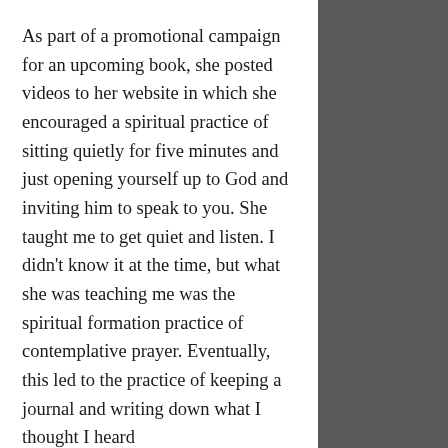As part of a promotional campaign for an upcoming book, she posted videos to her website in which she encouraged a spiritual practice of sitting quietly for five minutes and just opening yourself up to God and inviting him to speak to you. She taught me to get quiet and listen. I didn't know it at the time, but what she was teaching me was the spiritual formation practice of contemplative prayer. Eventually, this led to the practice of keeping a journal and writing down what I thought I heard